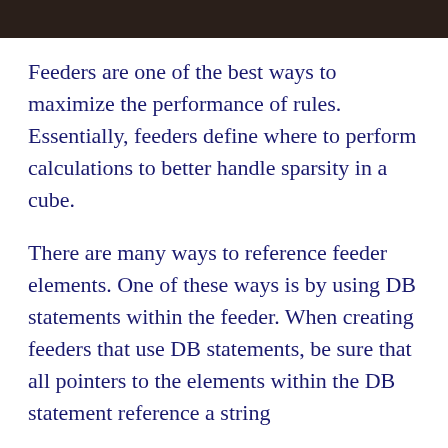[Figure (photo): Dark brown wooden background photo banner at top of page]
Feeders are one of the best ways to maximize the performance of rules. Essentially, feeders define where to perform calculations to better handle sparsity in a cube.
There are many ways to reference feeder elements. One of these ways is by using DB statements within the feeder. When creating feeders that use DB statements, be sure that all pointers to the elements within the DB statement reference a string